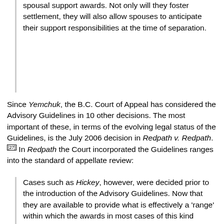spousal support awards. Not only will they foster settlement, they will also allow spouses to anticipate their support responsibilities at the time of separation.
Since Yemchuk, the B.C. Court of Appeal has considered the Advisory Guidelines in 10 other decisions. The most important of these, in terms of the evolving legal status of the Guidelines, is the July 2006 decision in Redpath v. Redpath.[27] In Redpath the Court incorporated the Guidelines ranges into the standard of appellate review:
Cases such as Hickey, however, were decided prior to the introduction of the Advisory Guidelines. Now that they are available to provide what is effectively a 'range' within which the awards in most cases of this kind should fall, it may be that if a particular award is substantially lower or higher than the range and there are no exceptional circumstances to explain the anomaly, the standard of review